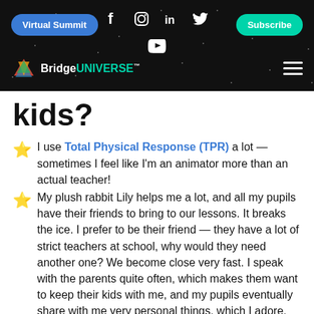Virtual Summit | Subscribe | Bridge UNIVERSE
kids?
I use Total Physical Response (TPR) a lot — sometimes I feel like I'm an animator more than an actual teacher!
My plush rabbit Lily helps me a lot, and all my pupils have their friends to bring to our lessons. It breaks the ice. I prefer to be their friend — they have a lot of strict teachers at school, why would they need another one? We become close very fast. I speak with the parents quite often, which makes them want to keep their kids with me, and my pupils eventually share with me very personal things, which I adore.
I try to take an individual approach to each kid and not